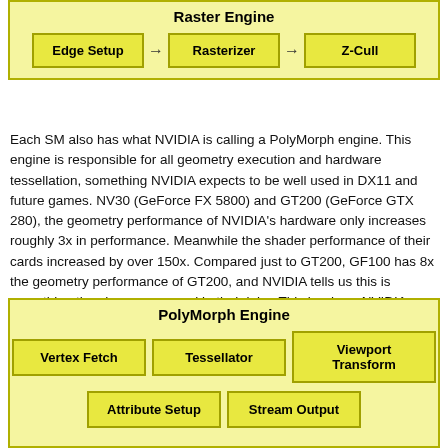[Figure (flowchart): Raster Engine diagram with three boxes: Edge Setup → Rasterizer → Z-Cull, inside a yellow bordered container labeled 'Raster Engine']
Each SM also has what NVIDIA is calling a PolyMorph engine. This engine is responsible for all geometry execution and hardware tessellation, something NVIDIA expects to be well used in DX11 and future games. NV30 (GeForce FX 5800) and GT200 (GeForce GTX 280), the geometry performance of NVIDIA's hardware only increases roughly 3x in performance. Meanwhile the shader performance of their cards increased by over 150x. Compared just to GT200, GF100 has 8x the geometry performance of GT200, and NVIDIA tells us this is something they have measured in their labs. This is where NVIDIA hopes to have the advantage over AMD, assuming game developers do scale up geometry and tessellation use as much as NVIDIA is counting on.
[Figure (flowchart): PolyMorph Engine diagram with five boxes: Vertex Fetch, Tessellator, Viewport Transform (top row), Attribute Setup, Stream Output (bottom row), inside a yellow bordered container labeled 'PolyMorph Engine']